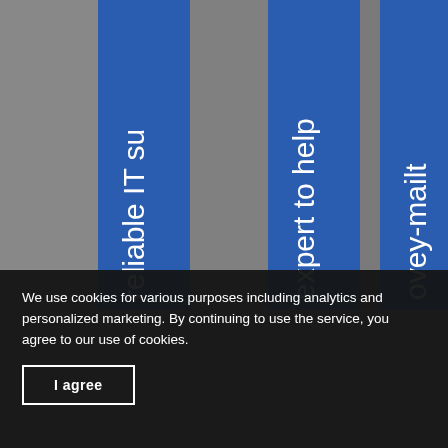[Figure (screenshot): Website screenshot showing vertical blue columns with rotated white text reading 'reliable IT su', 'expert to help', and 'ovey-mailt' (partially cut off words forming a marketing message). Gray background behind columns.]
We use cookies for various purposes including analytics and personalized marketing. By continuing to use the service, you agree to our use of cookies.
I agree